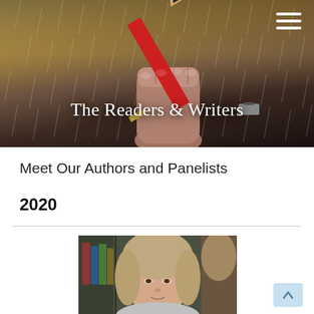[Figure (illustration): Hero banner with dramatic stormy sky and rain background, with a fist holding a large red pencil. White serif text overlay reads 'The Readers & Writers'. Hamburger menu icon in top right corner.]
Meet Our Authors and Panelists
2020
[Figure (photo): Partial photo of a woman with light brown/gray hair, appearing to be in a library or study setting with bookshelves and a lamp visible in the background.]